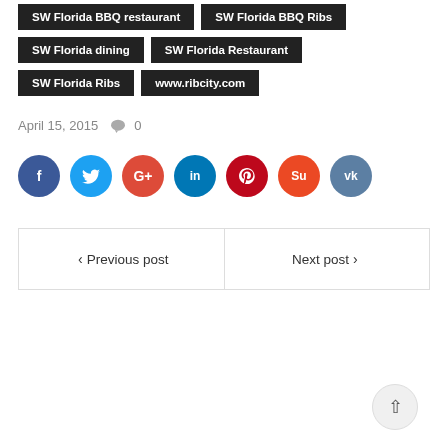SW Florida BBQ restaurant
SW Florida BBQ Ribs
SW Florida dining
SW Florida Restaurant
SW Florida Ribs
www.ribcity.com
April 15, 2015  💬 0
[Figure (infographic): Row of 7 social share buttons: Facebook (dark blue), Twitter (light blue), Google+ (red-orange), LinkedIn (teal blue), Pinterest (dark red), StumbleUpon (orange-red), VK (steel blue)]
< Previous post   Next post >